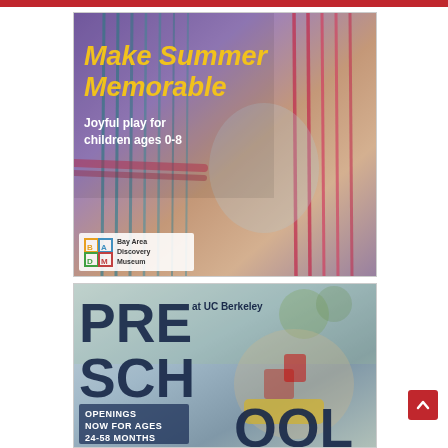[Figure (illustration): Bay Area Discovery Museum advertisement: 'Make Summer Memorable — Joyful play for children ages 0-8' with colorful rope play structure and children playing. BADM logo bottom left.]
[Figure (illustration): Preschool at UC Berkeley advertisement: Large bold text 'PRESCHOOL at UC Berkeley' with 'OPENINGS NOW FOR AGES 24-58 MONTHS' over photo of blonde child on toy vehicle outdoors.]